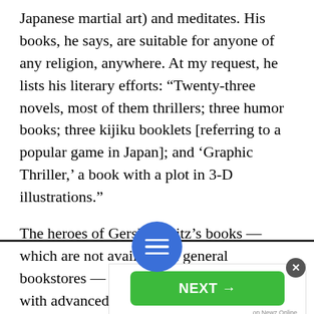Japanese martial art) and meditates. His books, he says, are suitable for anyone of any religion, anywhere. At my request, he lists his literary efforts: “Twenty-three novels, most of them thrillers; three humor books; three kijiku booklets [referring to a popular game in Japan]; and ‘Graphic Thriller,’ a book with a plot in 3-D illustrations.”
The heroes of Gershonovitz’s books — which are not available in general bookstores — tend to be Haredi secret age with advanced
[Figure (other): Blue circular menu button with three horizontal white lines (hamburger icon)]
[Figure (other): Advertisement area with a green NEXT button with arrow, and 'on Newz Online' label, plus a close (X) button]